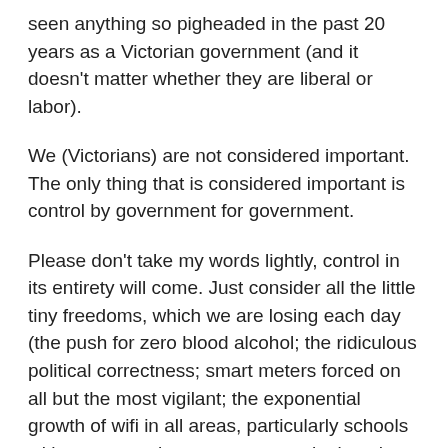seen anything so pigheaded in the past 20 years as a Victorian government (and it doesn't matter whether they are liberal or labor).
We (Victorians) are not considered important. The only thing that is considered important is control by government for government.
Please don't take my words lightly, control in its entirety will come. Just consider all the little tiny freedoms, which we are losing each day (the push for zero blood alcohol; the ridiculous political correctness; smart meters forced on all but the most vigilant; the exponential growth of wifi in all areas, particularly schools without parental consent or consultation; the list goes on…).